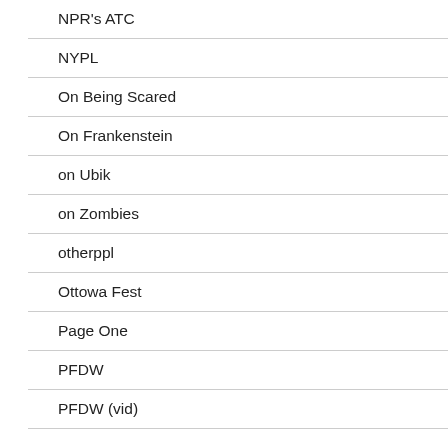NPR's ATC
NYPL
On Being Scared
On Frankenstein
on Ubik
on Zombies
otherppl
Ottowa Fest
Page One
PFDW
PFDW (vid)